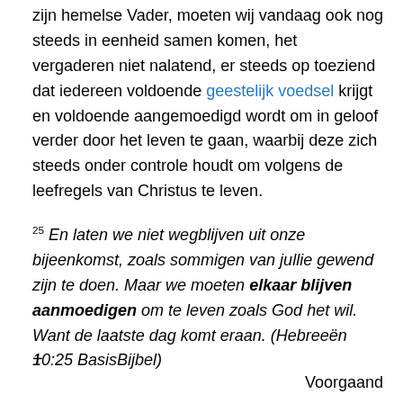zijn hemelse Vader, moeten wij vandaag ook nog steeds in eenheid samen komen, het vergaderen niet nalatend, er steeds op toeziend dat iedereen voldoende geestelijk voedsel krijgt en voldoende aangemoedigd wordt om in geloof verder door het leven te gaan, waarbij deze zich steeds onder controle houdt om volgens de leefregels van Christus te leven.
25 En laten we niet wegblijven uit onze bijeenkomst, zoals sommigen van jullie gewend zijn te doen. Maar we moeten elkaar blijven aanmoedigen om te leven zoals God het wil. Want de laatste dag komt eraan. (Hebreeën 10:25 BasisBijbel)
+
Voorgaand